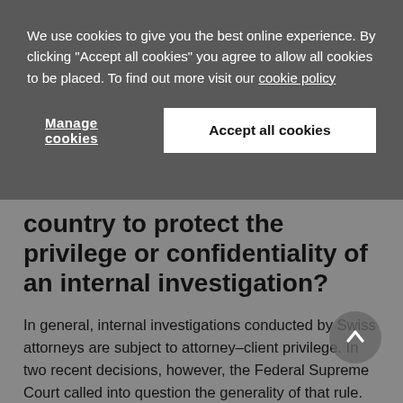We use cookies to give you the best online experience. By clicking "Accept all cookies" you agree to allow all cookies to be placed. To find out more visit our cookie policy
Manage cookies
Accept all cookies
country to protect the privilege or confidentiality of an internal investigation?
In general, internal investigations conducted by Swiss attorneys are subject to attorney–client privilege. In two recent decisions, however, the Federal Supreme Court called into question the generality of that rule.
In both cases, the clients were financial